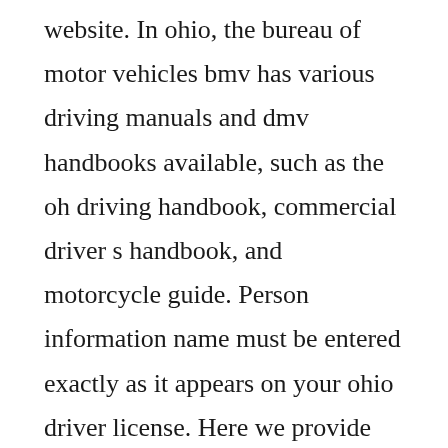website. In ohio, the bureau of motor vehicles bmv has various driving manuals and dmv handbooks available, such as the oh driving handbook, commercial driver s handbook, and motorcycle guide. Person information name must be entered exactly as it appears on your ohio driver license. Here we provide the very latest version of the handbook, which is pulled directly from the ohio bureau of motor. The drivers manual is the book that provides the information you need to know in order to pass your written test and to get your drivers permit. Probationary behindthewheel